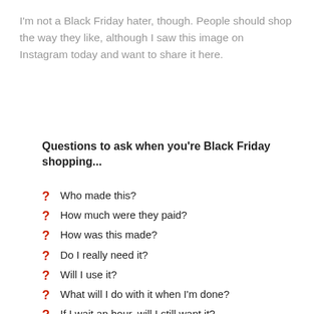I'm not a Black Friday hater, though. People should shop the way they like, although I saw this image on Instagram today and want to share it here.
Questions to ask when you're Black Friday shopping...
Who made this?
How much were they paid?
How was this made?
Do I really need it?
Will I use it?
What will I do with it when I'm done?
If I wait an hour, will I still want it?